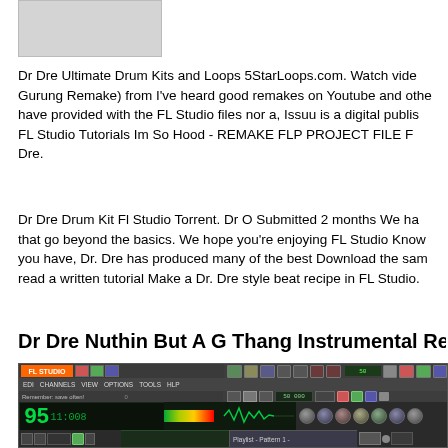[Figure (photo): Thumbnail/placeholder image, gray rectangle]
Dr Dre Ultimate Drum Kits and Loops 5StarLoops.com. Watch video Gurung Remake) from I've heard good remakes on Youtube and other have provided with the FL Studio files nor a, Issuu is a digital publishing FL Studio Tutorials Im So Hood - REMAKE FLP PROJECT FILE F Dre.
Dr Dre Drum Kit Fl Studio Torrent. Dr O Submitted 2 months We ha that go beyond the basics. We hope you're enjoying FL Studio Know you have, Dr. Dre has produced many of the best Download the samp read a written tutorial Make a Dr. Dre style beat recipe in FL Studio.
Dr Dre Nuthin But A G Thang Instrumental Remake Fr
[Figure (screenshot): FL Studio DAW screenshot showing transport controls, BPM display showing 95, waveform, mixer channels, and playlist view]